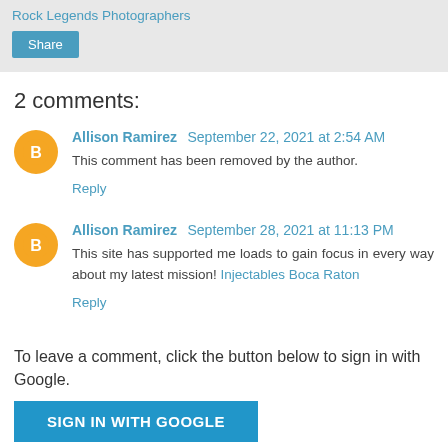Rock Legends Photographers
Share
2 comments:
Allison Ramirez September 22, 2021 at 2:54 AM
This comment has been removed by the author.
Reply
Allison Ramirez September 28, 2021 at 11:13 PM
This site has supported me loads to gain focus in every way about my latest mission! Injectables Boca Raton
Reply
To leave a comment, click the button below to sign in with Google.
SIGN IN WITH GOOGLE